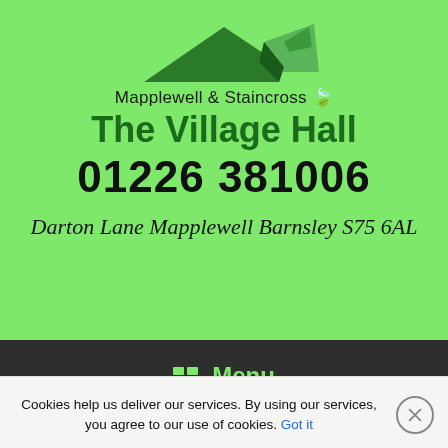[Figure (logo): Mapplewell & Staincross The Village Hall logo with green rooftop graphic]
The Village Hall
01226 381006
Darton Lane Mapplewell Barnsley S75 6AL
Menu
Cookies help us deliver our services. By using our services, you agree to our use of cookies. Got it